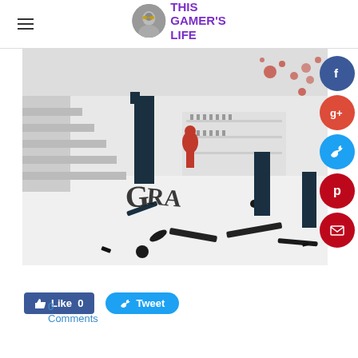THIS GAMER'S LIFE
[Figure (screenshot): Screenshot from a video game showing a white minimalist interior scene with red humanoid figures and scattered black gun/weapon parts on the floor, with the word 'SUPERHOT' partially visible as broken letters.]
Like 0   Tweet
0 Comments